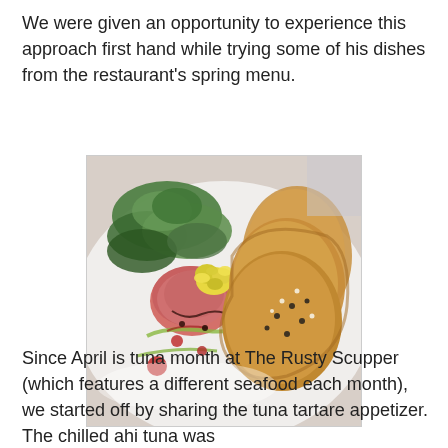We were given an opportunity to experience this approach first hand while trying some of his dishes from the restaurant's spring menu.
[Figure (photo): A plated dish showing tuna tartare with a yellow flower garnish, green salad leaves, and toasted bread slices with sesame seeds, arranged on a white plate with green oil and red sauce drizzles.]
Since April is tuna month at The Rusty Scupper (which features a different seafood each month), we started off by sharing the tuna tartare appetizer. The chilled ahi tuna was